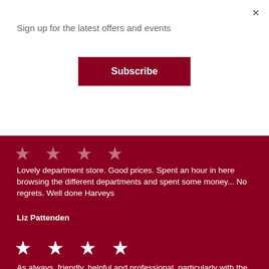×
Sign up for the latest offers and events
[Figure (other): Subscribe button]
[Figure (other): 5 half-transparent stars rating]
Lovely department store. Good prices. Spent an hour in here browsing the different departments and spent some money... No regrets. Well done Harveys
Liz Pattenden
[Figure (other): 5 white stars rating]
As always, friendly, helpful and professional, particularly with the management of the COVID restrictions
Stephanie Knowles